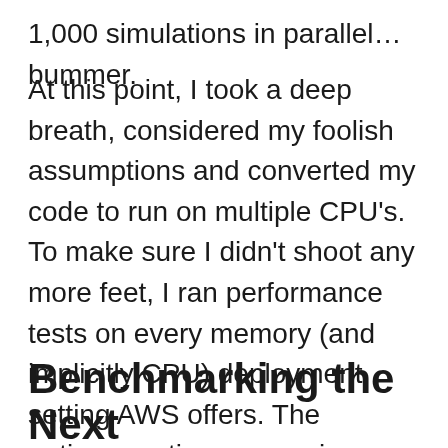1,000 simulations in parallel… bummer.
At this point, I took a deep breath, considered my foolish assumptions and converted my code to run on multiple CPU's. To make sure I didn't shoot any more feet, I ran performance tests on every memory (and implicitly CPU) deployment setting AWS offers. The optimum ratio was running on the max memory setting, 3008 MB. I am not actually sure that they have a full 3 core deployment setting but this is pretty close. And since my Lambda is CPU bound, any memory thrashing / thread swapping is REALLY expensive.
Benchmarking the Next...